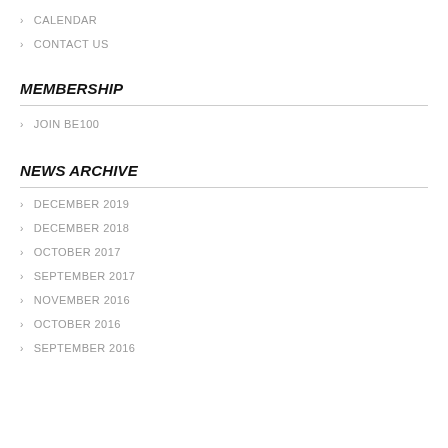CALENDAR
CONTACT US
MEMBERSHIP
JOIN BE100
NEWS ARCHIVE
DECEMBER 2019
DECEMBER 2018
OCTOBER 2017
SEPTEMBER 2017
NOVEMBER 2016
OCTOBER 2016
SEPTEMBER 2016